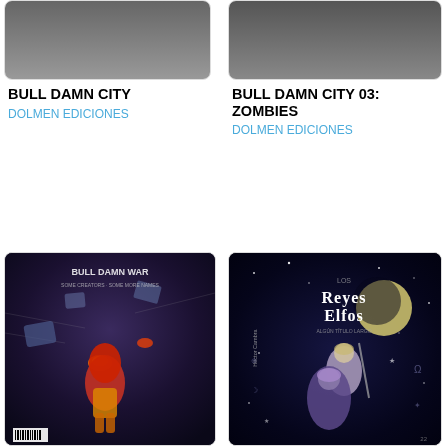[Figure (photo): Bull Damn City comic book cover - top portion visible]
BULL DAMN CITY
DOLMEN EDICIONES
[Figure (photo): Bull Damn City 03: Zombies comic book cover - top portion visible]
BULL DAMN CITY 03: ZOMBIES
DOLMEN EDICIONES
[Figure (photo): Bull Damn War comic book cover showing a red-haired female character in a sci-fi battle scene]
[Figure (photo): Los Reyes Elfos comic book cover showing two characters against a dark starry background]